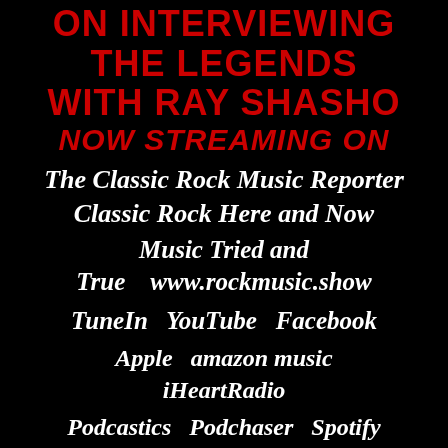ON INTERVIEWING THE LEGENDS WITH RAY SHASHO NOW STREAMING ON
The Classic Rock Music Reporter
Classic Rock Here and Now
Music Tried and True   www.rockmusic.show
TuneIn   YouTube   Facebook
Apple   amazon music   iHeartRadio
Podcastics   Podchaser   Spotify